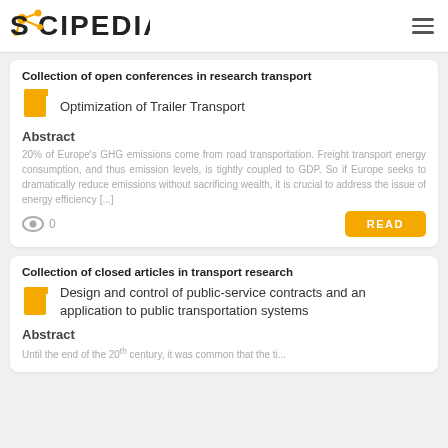SCIPEDIA
Collection of open conferences in research transport
Optimization of Trailer Transport
Abstract
20% of Europe's GHG emissions come from road transportation. Freight transport energy consumption, and thus emission levels, is tightly coupled to GDP. So if Europe seeks to dramatically reduce emissions without sacrificing wealth, it is crucial to address the issue of energy efficiency [...]
0
Collection of closed articles in transport research
Design and control of public-service contracts and an application to public transportation systems
Abstract
Until the end of the 20th century, it was common that the ti...